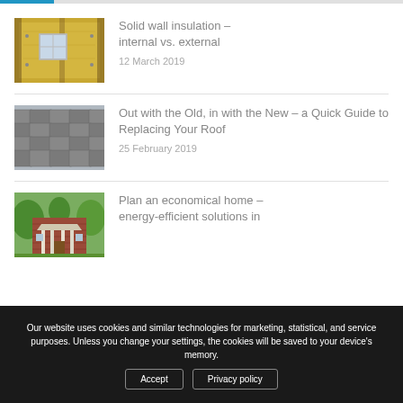[Figure (photo): Photo of wall insulation showing yellow insulation boards and a window]
Solid wall insulation – internal vs. external
12 March 2019
[Figure (photo): Close-up photo of grey roof tiles]
Out with the Old, in with the New – a Quick Guide to Replacing Your Roof
25 February 2019
[Figure (photo): Photo of a large brick house with columns and green trees]
Plan an economical home – energy-efficient solutions in
Our website uses cookies and similar technologies for marketing, statistical, and service purposes. Unless you change your settings, the cookies will be saved to your device's memory.
Accept
Privacy policy